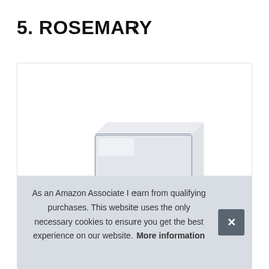5. ROSEMARY
[Figure (photo): Product photo of a rectangular transparent/glass container or block with slight lavender-grey tint, sitting on small black feet, on a white background inside a product card.]
As an Amazon Associate I earn from qualifying purchases. This website uses the only necessary cookies to ensure you get the best experience on our website. More information